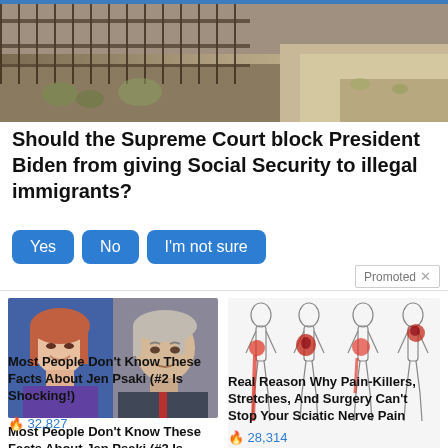[Figure (photo): Aerial/ground photo of a border fence area with dry desert vegetation and sandy ground]
Should the Supreme Court block President Biden from giving Social Security to illegal immigrants?
Yes  No  I'm not sure
Promoted X
[Figure (photo): Side-by-side photos of Jen Psaki and President Biden]
Most People Don't Know These Facts About Jen Psaki (#2 Is Shocking!)
🔥 32,827
[Figure (illustration): Medical illustration showing four human body outlines with red pain areas highlighted along legs and hips, representing sciatic nerve pain]
Real Reason Why Pain-Killers, Stretches, And Surgery Can't Stop Your Sciatic Nerve Pain
🔥 28,314